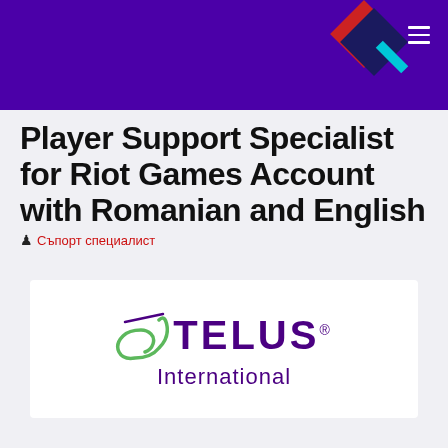Header bar with TELUS International logo mark
Player Support Specialist for Riot Games Account with Romanian and English
Съпорт специалист
[Figure (logo): TELUS International company logo with stylized swoosh and wordmark]